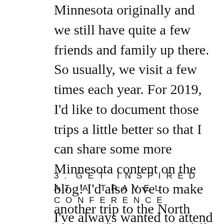Minnesota originally and we still have quite a few friends and family up there. So usually, we visit a few times each year. For 2019, I'd like to document those trips a little better so that I can share some more Minnesota content on the blog! I'd also love to make another trip to the North Shore in the summer or fall.
3. GET INSPIRED AT A TRAVEL CONFERENCE
I've always wanted to attend a travel